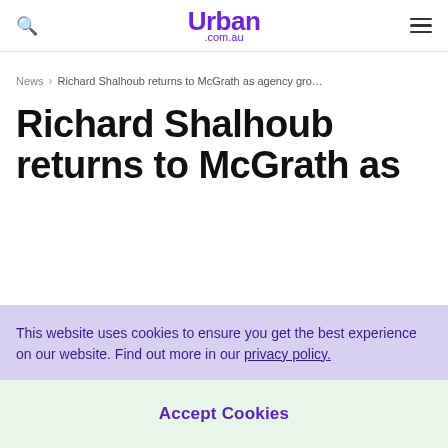Urban .com.au
News > Richard Shalhoub returns to McGrath as agency gro...
Richard Shalhoub returns to McGrath as
This website uses cookies to ensure you get the best experience on our website. Find out more in our privacy policy.
Accept Cookies